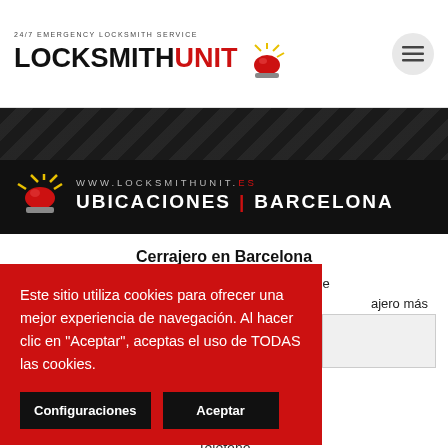24/7 EMERGENCY LOCKSMITH SERVICE — LOCKSMITHUNIT.es
[Figure (logo): LocksmithUnit logo with red alarm light icon]
[Figure (infographic): Dark banner with siren icon, www.locksmithunit.es UBICACIONES | BARCELONA]
Cerrajero en Barcelona
Llamenos al +34 676 38 40 43 o simplemente ingrese ... ajero más ... uestión de
Este sitio utiliza cookies para ofrecer una mejor experiencia de navegación. Al hacer clic en "Aceptar", aceptas el uso de TODAS las cookies.
Configuraciones   Aceptar
Teléfono